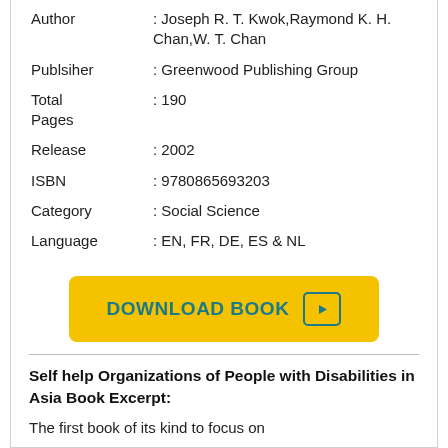| Author | : Joseph R. T. Kwok,Raymond K. H. Chan,W. T. Chan |
| Publsiher | : Greenwood Publishing Group |
| Total Pages | : 190 |
| Release | : 2002 |
| ISBN | : 9780865693203 |
| Category | : Social Science |
| Language | : EN, FR, DE, ES & NL |
DOWNLOAD BOOK
Self help Organizations of People with Disabilities in Asia Book Excerpt:
The first book of its kind to focus on